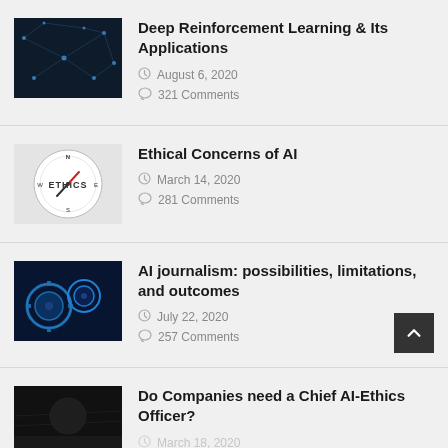[Figure (photo): Dark neural network image thumbnail for Deep Reinforcement Learning article]
Deep Reinforcement Learning & Its Applications
August 6, 2020
321 Comments
[Figure (photo): Compass showing the word ETHICS on the face]
Ethical Concerns of AI
March 14, 2020
281 Comments
[Figure (photo): Blue glowing gears/robot image thumbnail for AI journalism article]
AI journalism: possibilities, limitations, and outcomes
July 22, 2020
257 Comments
[Figure (photo): Dark image with ETHICS text for Chief AI-Ethics Officer article]
Do Companies need a Chief AI-Ethics Officer?